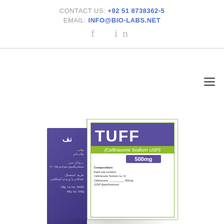CONTACT US: +92 51 8738362-5
EMAIL: INFO@BIO-LABS.NET
[Figure (photo): Product photo of TUFF (Ceftriaxone Sodium USP) 500mg injection vial box. The box has a purple side panel with Urdu text and a white front panel with green border. The front shows 'TUFF' in large white text on purple background, '(Ceftriaxone Sodium USP)' on a green banner, '500mg' dosage label, and composition details below.]